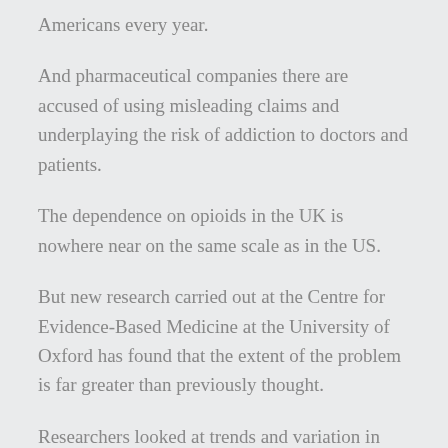Americans every year.
And pharmaceutical companies there are accused of using misleading claims and underplaying the risk of addiction to doctors and patients.
The dependence on opioids in the UK is nowhere near on the same scale as in the US.
But new research carried out at the Centre for Evidence-Based Medicine at the University of Oxford has found that the extent of the problem is far greater than previously thought.
Researchers looked at trends and variation in opioid prescribing across England between 1998 and 2016.
When they counted the number of prescriptions, the